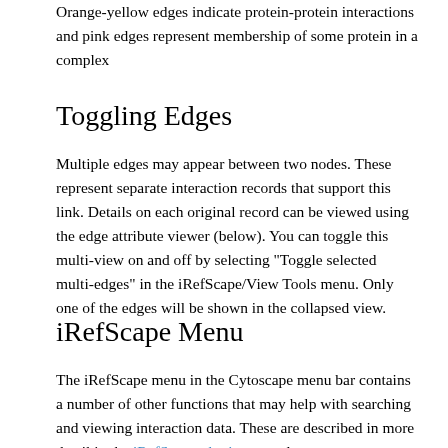Orange-yellow edges indicate protein-protein interactions and pink edges represent membership of some protein in a complex
Toggling Edges
Multiple edges may appear between two nodes. These represent separate interaction records that support this link. Details on each original record can be viewed using the edge attribute viewer (below). You can toggle this multi-view on and off by selecting "Toggle selected multi-edges" in the iRefScape/View Tools menu. Only one of the edges will be shown in the collapsed view.
iRefScape Menu
The iRefScape menu in the Cytoscape menu bar contains a number of other functions that may help with searching and viewing interaction data. These are described in more detail in the iRefScape plugin menu document.